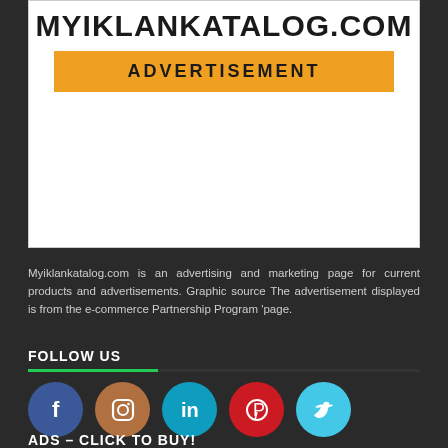[Figure (logo): White advertisement box with MYIKLANKATALOG.COM title and orange ADVERTISEMENT banner]
Myiklankatalog.com is an advertising and marketing page for current products and advertisements. Graphic source The advertisement displayed is from the e-commerce Partnership Program 'page.
FOLLOW US
[Figure (infographic): Row of social media icons: Facebook (blue), Instagram (brown), LinkedIn (teal), Pinterest (red), Twitter (cyan)]
ADS – CLICK TO BUY!